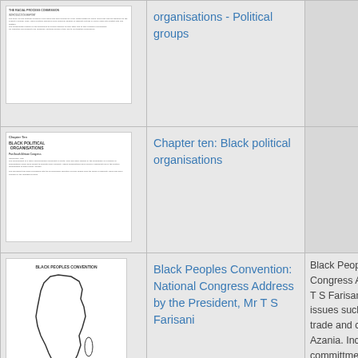| Thumbnail | Title | Description |
| --- | --- | --- |
| [image: document thumbnail] | organisations - Political groups |  |
| [image: Chapter Ten: Black Political Organisations] | Chapter ten: Black political organisations |  |
| [image: Black Peoples Convention document with Africa map] | Black Peoples Convention: National Congress Address by the President, Mr T S Farisani | Black Peoples Convention: National Congress Address by the President, Mr T S Farisani. The address discusses issues such as social welfare, industry, trade and commerce in a future free Azania. Includes a poem on committment. |
| [image] |  | Black Peoples Convention: |